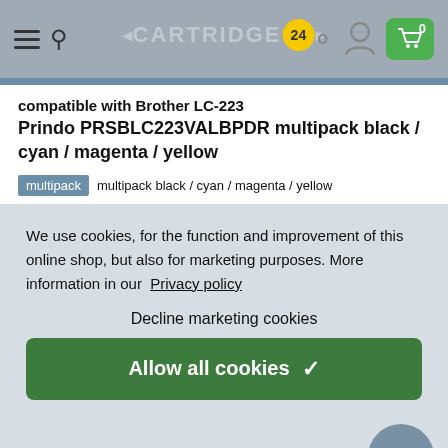CARTRIDGE 24
compatible with Brother LC-223
Prindo PRSBLC223VALBPDR multipack black / cyan / magenta / yellow
multipack  multipack black / cyan / magenta / yellow
We use cookies, for the function and improvement of this online shop, but also for marketing purposes. More information in our Privacy policy
Decline marketing cookies
Allow all cookies ✓